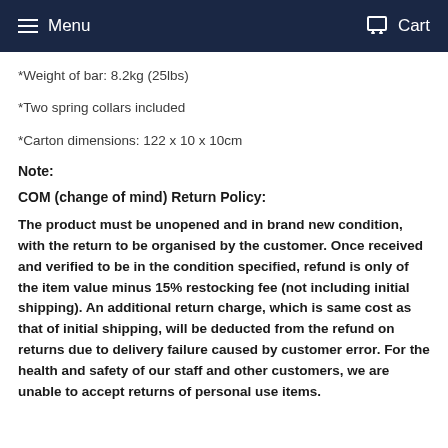Menu  Cart
*Weight of bar: 8.2kg (25lbs)
*Two spring collars included
*Carton dimensions: 122 x 10 x 10cm
Note:
COM (change of mind) Return Policy:
The product must be unopened and in brand new condition, with the return to be organised by the customer. Once received and verified to be in the condition specified, refund is only of the item value minus 15% restocking fee (not including initial shipping). An additional return charge, which is same cost as that of initial shipping, will be deducted from the refund on returns due to delivery failure caused by customer error. For the health and safety of our staff and other customers, we are unable to accept returns of personal use items.